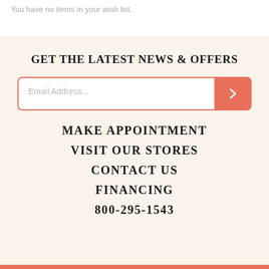You have no items in your wish list.
GET THE LATEST NEWS & OFFERS
Email Address...
MAKE APPOINTMENT
VISIT OUR STORES
CONTACT US
FINANCING
800-295-1543